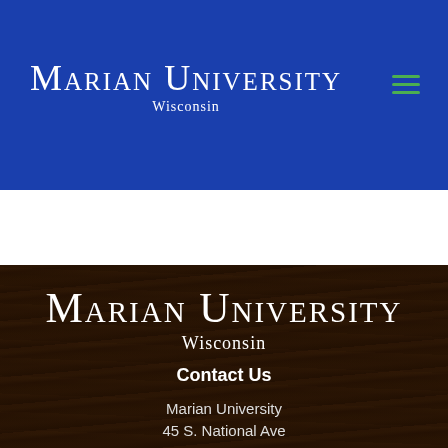Marian University Wisconsin
Marian University Wisconsin
Contact Us
Marian University
45 S. National Ave